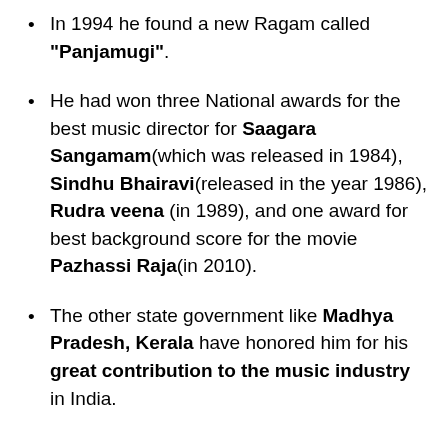In 1994 he found a new Ragam called "Panjamugi".
He had won three National awards for the best music director for Saagara Sangamam(which was released in 1984), Sindhu Bhairavi(released in the year 1986), Rudra veena (in 1989), and one award for best background score for the movie Pazhassi Raja(in 2010).
The other state government like Madhya Pradesh, Kerala have honored him for his great contribution to the music industry in India.